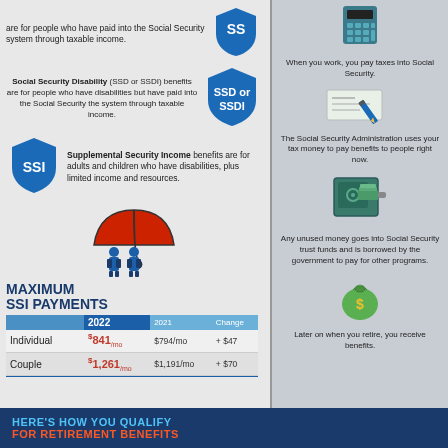are for people who have paid into the Social Security system through taxable income.
[Figure (infographic): Blue shield with 'SS' text]
Social Security Disability (SSD or SSDI) benefits are for people who have disabilities but have paid into the Social Security the system through taxable income.
[Figure (infographic): Blue shield with 'SSD or SSDI' text]
[Figure (infographic): Blue shield with 'SSI' text]
Supplemental Security Income benefits are for adults and children who have disabilities, plus limited income and resources.
[Figure (infographic): Two people under a red umbrella illustration]
MAXIMUM SSI PAYMENTS
|  | 2022 | 2021 | Change |
| --- | --- | --- | --- |
| Individual | $841/mo | $794/mo | + $47 |
| Couple | $1,261/mo | $1,191/mo | + $70 |
[Figure (infographic): Calculator icon]
When you work, you pay taxes into Social Security.
[Figure (infographic): Check with pen icon]
The Social Security Administration uses your tax money to pay benefits to people right now.
[Figure (infographic): Safe with money icon]
Any unused money goes into Social Security trust funds and is borrowed by the government to pay for other programs.
[Figure (infographic): Money bag with dollar sign icon]
Later on when you retire, you receive benefits.
HERE'S HOW YOU QUALIFY FOR RETIREMENT BENEFITS